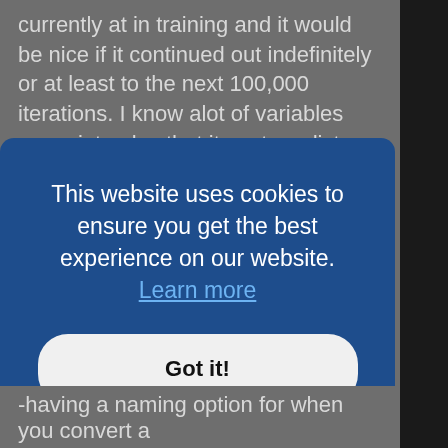currently at in training and it would be nice if it continued out indefinitely or at least to the next 100,000 iterations. I know alot of variables come into play that it cant predict and it wouldnt be super accurate, but it still would be a nice feature if I could roughly tell that with in the next 20,000 iterations my loss value would drop by .1 or if I would hit .1 loss value after 100,000 iterations from my current training spot
-A preview for the sharpness scaling setting while converting, even if its just a preset picture and not a frame from whatever project you are working, just so you can see that...say in your specific situation, having a threshold of 300 is fine, but making your radius 2 as opposed to .5 would just produce weird results. Im
This website uses cookies to ensure you get the best experience on our website. Learn more
Got it!
-having a naming option for when you convert a